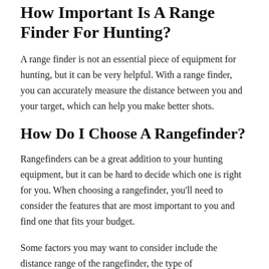How Important Is A Range Finder For Hunting?
A range finder is not an essential piece of equipment for hunting, but it can be very helpful. With a range finder, you can accurately measure the distance between you and your target, which can help you make better shots.
How Do I Choose A Rangefinder?
Rangefinders can be a great addition to your hunting equipment, but it can be hard to decide which one is right for you. When choosing a rangefinder, you'll need to consider the features that are most important to you and find one that fits your budget.
Some factors you may want to consider include the distance range of the rangefinder, the type of